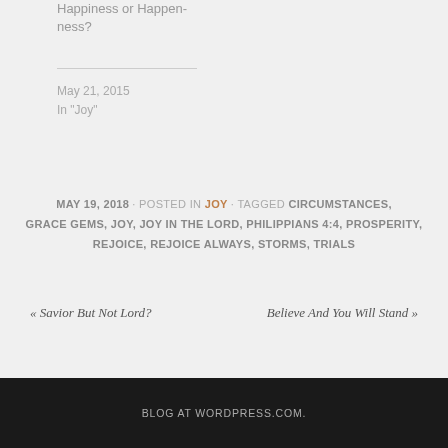Happiness or Happiness?
May 21, 2015
In "Joy"
MAY 19, 2018 · POSTED IN JOY · TAGGED CIRCUMSTANCES, GRACE GEMS, JOY, JOY IN THE LORD, PHILIPPIANS 4:4, PROSPERITY, REJOICE, REJOICE ALWAYS, STORMS, TRIALS
« Savior But Not Lord?
Believe And You Will Stand »
BLOG AT WORDPRESS.COM.